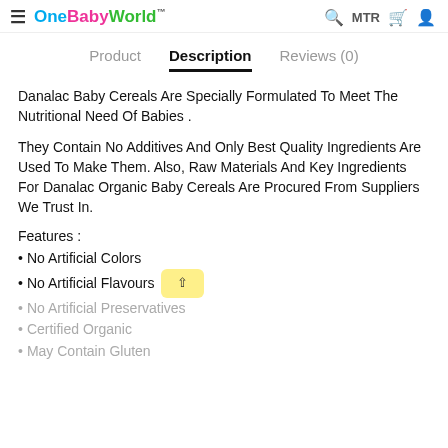OneBabyWorld™  MTR
Description
Danalac Baby Cereals Are Specially Formulated To Meet The Nutritional Need Of Babies .
They Contain No Additives And Only Best Quality Ingredients Are Used To Make Them. Also, Raw Materials And Key Ingredients For Danalac Organic Baby Cereals Are Procured From Suppliers We Trust In.
Features :
No Artificial Colors
No Artificial Flavours
No Artificial Preservatives
Certified Organic
May Contain Gluten